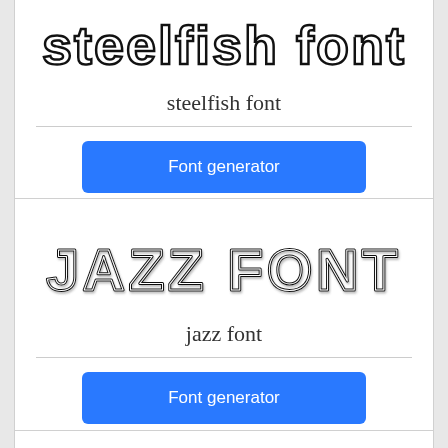[Figure (illustration): Steelfish font display text rendered in an outlined/inline style]
steelfish font
Font generator
[Figure (illustration): Jazz font display text rendered in a rounded bubble outline style]
jazz font
Font generator